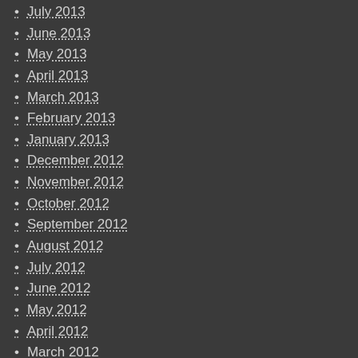July 2013
June 2013
May 2013
April 2013
March 2013
February 2013
January 2013
December 2012
November 2012
October 2012
September 2012
August 2012
July 2012
June 2012
May 2012
April 2012
March 2012
February 2012
January 2012
December 2011
November 2011
October 2011
September 2011